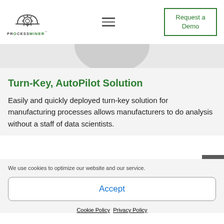[Figure (logo): ProcessMiner logo with gear/helmet icon and text PROCESSMINER]
[Figure (other): Hamburger menu icon (three horizontal lines)]
[Figure (other): Request a Demo button with green border]
[Figure (other): Partial gray circle visible at top of content area]
Turn-Key, AutoPilot Solution
Easily and quickly deployed turn-key solution for manufacturing processes allows manufacturers to do analysis without a staff of data scientists.
[Figure (other): Back to top button (dark gray with upward arrow)]
We use cookies to optimize our website and our service.
Accept
Cookie Policy   Privacy Policy